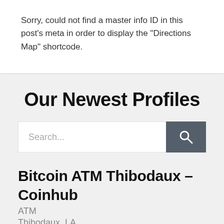Sorry, could not find a master info ID in this post's meta in order to display the "Directions Map" shortcode.
Our Newest Profiles
Search...
Bitcoin ATM Thibodaux – Coinhub
ATM
Thibodaux, LA